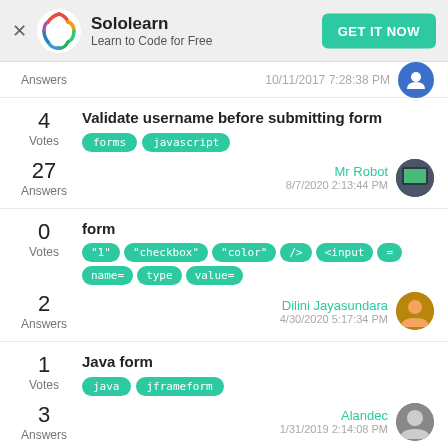Sololearn – Learn to Code for Free – GET IT NOW
Answers  10/11/2017 7:28:38 PM
Validate username before submitting form
Tags: forms, javascript
27 Answers  Mr Robot  8/7/2020 2:13:44 PM
form
Tags: "1", "checkbox", "color", />, <input, =, name=, type, value=
2 Answers  Dilini Jayasundara  4/30/2020 5:17:34 PM
Java form
Tags: java, jframeform
3 Answers  Alandec  1/31/2019 2:14:08 PM